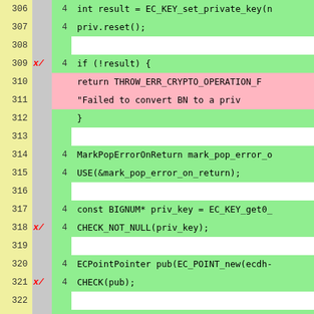[Figure (screenshot): Code coverage viewer showing C++ source lines 306-331 with line numbers, hit counts, green (covered) and pink (uncovered) background highlighting, and red cross/tick markers for branch coverage.]